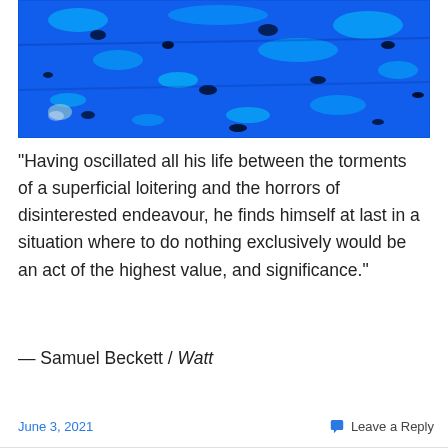[Figure (photo): Close-up photograph of a rough textured surface with vivid blue and cyan colors, resembling painted stone or metal with black spots and patches throughout.]
“Having oscillated all his life between the torments of a superficial loitering and the horrors of disinterested endeavour, he finds himself at last in a situation where to do nothing exclusively would be an act of the highest value, and significance.”
— Samuel Beckett / Watt
June 3, 2021      Leave a Reply